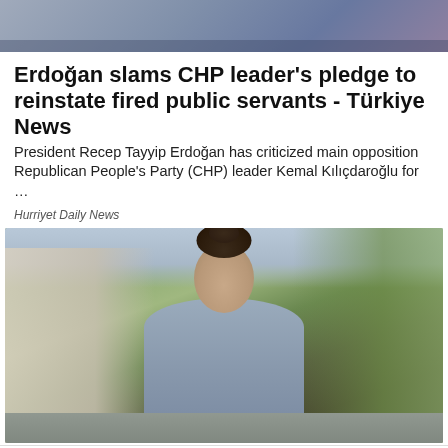[Figure (photo): Partial top photo, cropped image of a person, top portion visible]
Erdoğan slams CHP leader's pledge to reinstate fired public servants - Türkiye News
President Recep Tayyip Erdoğan has criticized main opposition Republican People's Party (CHP) leader Kemal Kılıçdaroğlu for …
Hurriyet Daily News
[Figure (photo): A smiling woman with dark hair in a bun, wearing a light blue/grey fitted top, standing outdoors on a sidewalk with trees and buildings in the background]
We use cookies in limited purposes and legitimate manner. You can review your data policy.